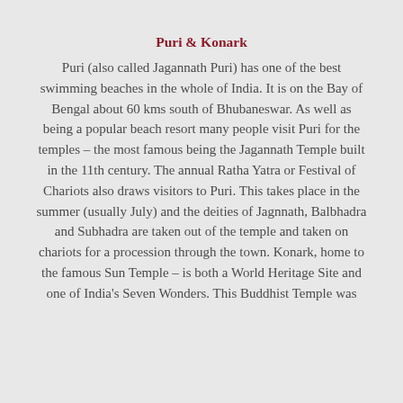Puri & Konark
Puri (also called Jagannath Puri) has one of the best swimming beaches in the whole of India. It is on the Bay of Bengal about 60 kms south of Bhubaneswar. As well as being a popular beach resort many people visit Puri for the temples – the most famous being the Jagannath Temple built in the 11th century. The annual Ratha Yatra or Festival of Chariots also draws visitors to Puri. This takes place in the summer (usually July) and the deities of Jagnnath, Balbhadra and Subhadra are taken out of the temple and taken on chariots for a procession through the town. Konark, home to the famous Sun Temple – is both a World Heritage Site and one of India's Seven Wonders. This Buddhist Temple was